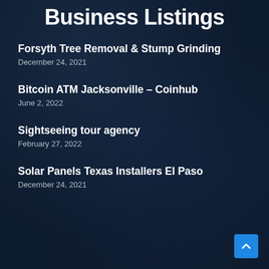Business Listings
Forsyth Tree Removal & Stump Grinding
December 24, 2021
Bitcoin ATM Jacksonville – Coinhub
June 2, 2022
Sightseeing tour agency
February 27, 2022
Solar Panels Texas Installers El Paso
December 24, 2021